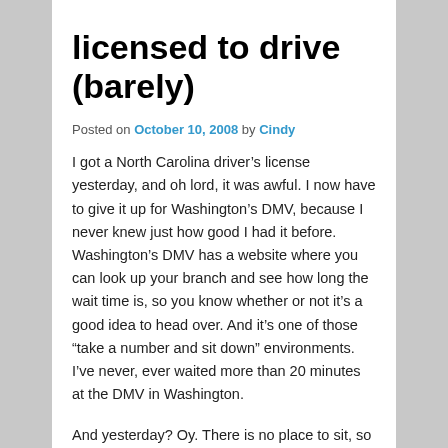licensed to drive (barely)
Posted on October 10, 2008 by Cindy
I got a North Carolina driver’s license yesterday, and oh lord, it was awful. I now have to give it up for Washington’s DMV, because I never knew just how good I had it before. Washington’s DMV has a website where you can look up your branch and see how long the wait time is, so you know whether or not it’s a good idea to head over. And it’s one of those “take a number and sit down” environments. I’ve never, ever waited more than 20 minutes at the DMV in Washington.
And yesterday? Oy. There is no place to sit, so I had to stand in line. For an hour and a half. It felt like it was about 90 degrees in there with everybody packed in like sardines. (Get all nice & sweaty for your photo – cute!) Then about halfway through it, I found out that you must